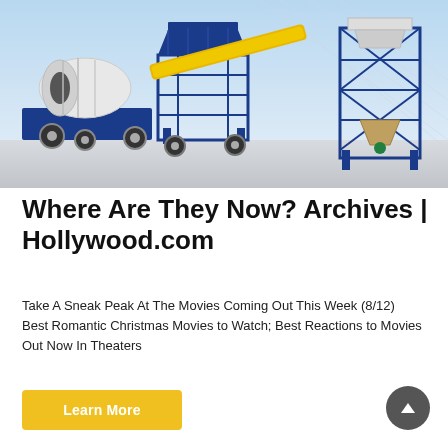[Figure (photo): Industrial construction machinery — a mobile concrete mixer with blue steel frame and white drum on the left, connected via yellow conveyor belt to a blue steel tower silo structure on the right, set against a light architectural background.]
Where Are They Now? Archives | Hollywood.com
Take A Sneak Peak At The Movies Coming Out This Week (8/12) Best Romantic Christmas Movies to Watch; Best Reactions to Movies Out Now In Theaters
Learn More